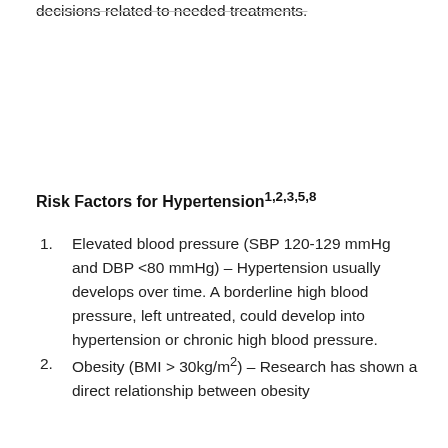decisions related to needed treatments.
Risk Factors for Hypertension1,2,3,5,8
Elevated blood pressure (SBP 120-129 mmHg and DBP <80 mmHg) – Hypertension usually develops over time. A borderline high blood pressure, left untreated, could develop into hypertension or chronic high blood pressure.
Obesity (BMI > 30kg/m2) – Research has shown a direct relationship between obesity